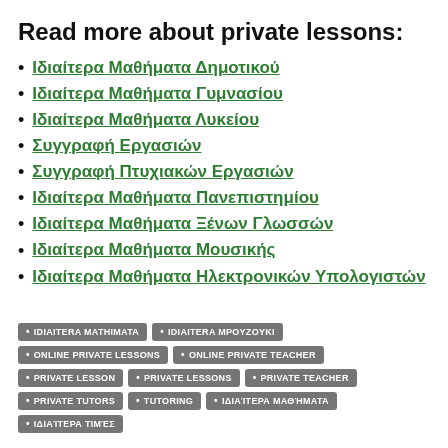Read more about private lessons:
Ιδιαίτερα Μαθήματα Δημοτικού
Ιδιαίτερα Μαθήματα Γυμνασίου
Ιδιαίτερα Μαθήματα Λυκείου
Συγγραφή Εργασιών
Συγγραφή Πτυχιακών Εργασιών
Ιδιαίτερα Μαθήματα Πανεπιστημίου
Ιδιαίτερα Μαθήματα Ξένων Γλωσσών
Ιδιαίτερα Μαθήματα Μουσικής
Ιδιαίτερα Μαθήματα Ηλεκτρονικών Υπολογιστών
IDIAITERA MATHIMATA • IDIAITERA MPOYZΟYKI • ONLINE PRIVATE LESSONS • ONLINE PRIVATE TEACHER • PRIVATE LESSON • PRIVATE LESSONS • PRIVATE TEACHER • PRIVATE TUTORS • TUTORING • ΙΔΙΑΊΤΕΡΑ ΜΑΘΉΜΑΤΑ • ΙΔΙΑΊΤΕΡΑ ΤΙΜΈΣ